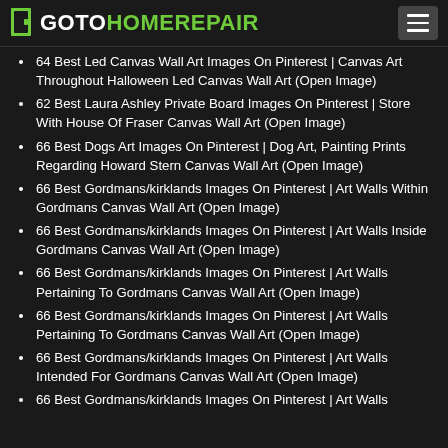GOTOHOMEREPAIR
64 Best Led Canvas Wall Art Images On Pinterest | Canvas Art Throughout Halloween Led Canvas Wall Art (Open Image)
62 Best Laura Ashley Private Board Images On Pinterest | Store With House Of Fraser Canvas Wall Art (Open Image)
66 Best Dogs Art Images On Pinterest | Dog Art, Painting Prints Regarding Howard Stern Canvas Wall Art (Open Image)
66 Best Gordmans/kirklands Images On Pinterest | Art Walls Within Gordmans Canvas Wall Art (Open Image)
66 Best Gordmans/kirklands Images On Pinterest | Art Walls Inside Gordmans Canvas Wall Art (Open Image)
66 Best Gordmans/kirklands Images On Pinterest | Art Walls Pertaining To Gordmans Canvas Wall Art (Open Image)
66 Best Gordmans/kirklands Images On Pinterest | Art Walls Pertaining To Gordmans Canvas Wall Art (Open Image)
66 Best Gordmans/kirklands Images On Pinterest | Art Walls Intended For Gordmans Canvas Wall Art (Open Image)
66 Best Gordmans/kirklands Images On Pinterest | Art Walls